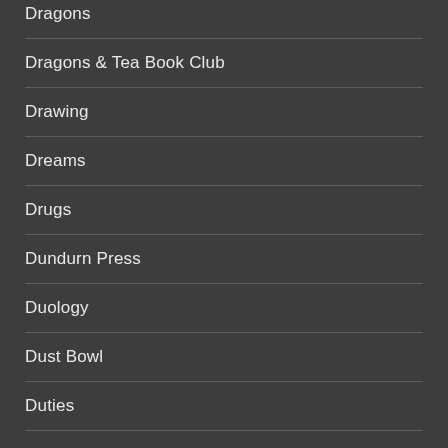Dragons
Dragons & Tea Book Club
Drawing
Dreams
Drugs
Dundurn Press
Duology
Dust Bowl
Duties
Dysfunctional families